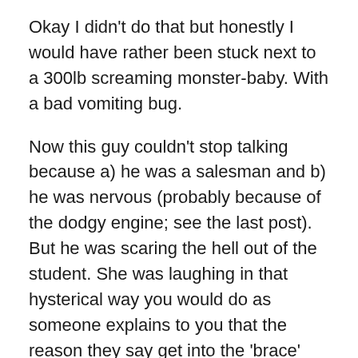Okay I didn't do that but honestly I would have rather been stuck next to a 300lb screaming monster-baby. With a bad vomiting bug.
Now this guy couldn't stop talking because a) he was a salesman and b) he was nervous (probably because of the dodgy engine; see the last post). But he was scaring the hell out of the student. She was laughing in that hysterical way you would do as someone explains to you that the reason they say get into the 'brace' position if you are unlucky enough to be in an airplane disaster scenario isn't to try to save your life, it's to try and keep your teeth in your face so they can identify your body from dental records. Nice.
That guy was an arsehole but his buddy was worse – some kind of Eastern European who was trying to chat